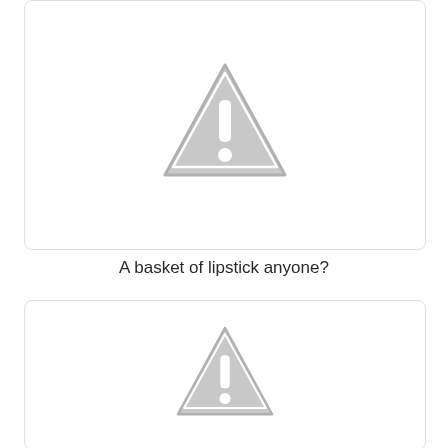[Figure (illustration): A white rounded rectangle box containing a grey warning triangle icon with an exclamation mark, representing a missing or unavailable image placeholder.]
A basket of lipstick anyone?
[Figure (illustration): A white rounded rectangle box containing a grey warning triangle icon with an exclamation mark, representing a missing or unavailable image placeholder.]